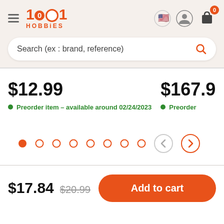1001 HOBBIES - navigation header with logo, language selector, user icon, and cart (0 items)
Search (ex : brand, reference)
$12.99
Preorder item - available around 02/24/2023
$167.9
Preorder
[Figure (other): Carousel pagination with 8 dots (first filled/active) and previous/next arrow buttons]
$17.84  $20.99  Add to cart